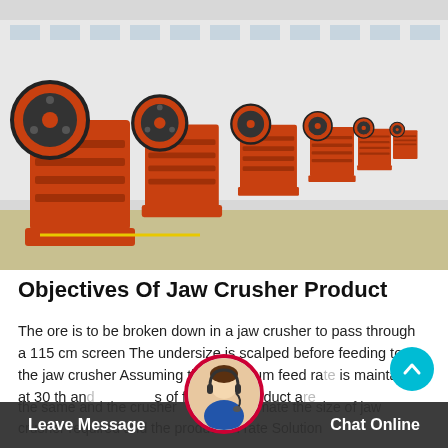[Figure (photo): Row of orange jaw crusher machines lined up in a factory yard, with a white industrial building in the background. The crushers are heavy orange industrial equipment with large flywheels.]
Objectives Of Jaw Crusher Product
The ore is to be broken down in a jaw crusher to pass through a 115 cm screen The undersize is scalped before feeding to the jaw crusher Assuming the maximum feed rate is maintained at 30 th and sizes of feed and product are the same and the crusher to estimate the size of jaw crusher required and the production rate Solution
Leave Message   Chat Online